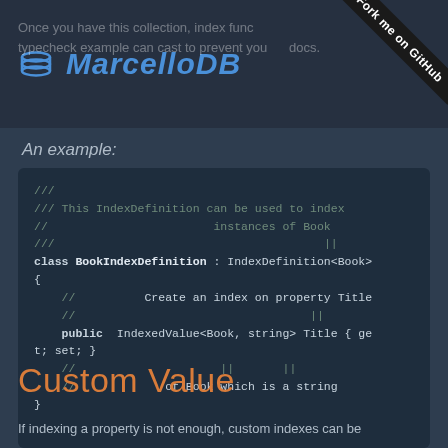MarcelloDB
Once you have this collection, index functions typecheck example can cast to prevent your docs.
An example:
[Figure (screenshot): Code block showing C# class BookIndexDefinition implementing IndexDefinition<Book> with comments and an IndexedValue<Book, string> Title property]
Custom Value
If indexing a property is not enough, custom indexes can be